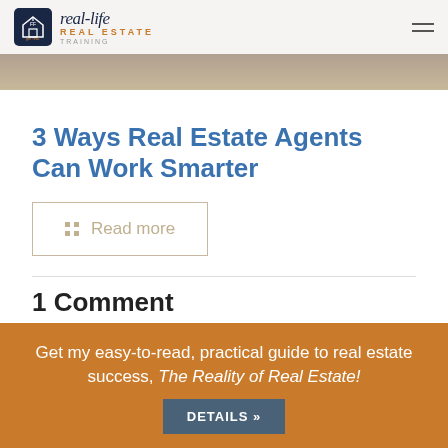real-life REAL ESTATE TRAINING
[Figure (photo): Partial hero image of a person at a desk, cropped at top]
3 Ways Real Estate Agents Can Work Smarter
Read more
1 Comment
Get my easy-to-read, practical guide to real estate success, The Reality of Real Estate!
DETAILS »